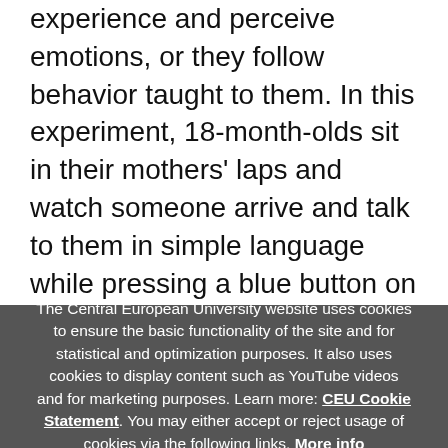experience and perceive emotions, or they follow behavior taught to them. In this experiment, 18-month-olds sit in their mothers' laps and watch someone arrive and talk to them in simple language while pressing a blue button on a box, which out of three times plays an interesting sound twice (boom-boom). Then someone comes in and shows without explaining that pressing the red button results in the sound playing each time. The results showed that most babies chose the less-efficient blue button. If neither 'helper' communicates, just shows the operation of the two buttons, then babies choose the more efficient option, the red button. CEU's results are confirmed by separate
The Central European University website uses cookies to ensure the basic functionality of the site and for statistical and optimization purposes. It also uses cookies to display content such as YouTube videos and for marketing purposes. Learn more: CEU Cookie Statement. You may either accept or reject usage of cookies via the following links. More info